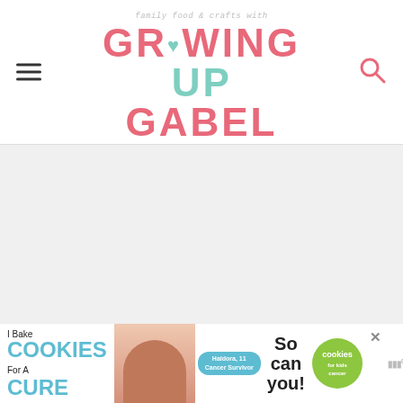family food & crafts with GROWING UP GABEL
[Figure (screenshot): Main content area placeholder - light gray empty region]
[Figure (infographic): Ad banner: 'I Bake COOKIES For A CURE - Haldora, 11 Cancer Survivor - So can you! - cookies for kids cancer']